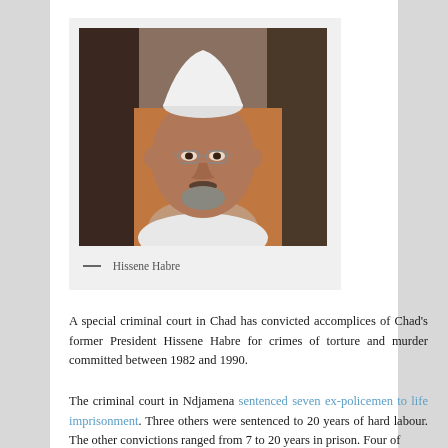[Figure (photo): Portrait photograph of Hissene Habre, a man wearing a white traditional cap and white garment, with glasses, grey beard, looking slightly to the side.]
— Hissene Habre
A special criminal court in Chad has convicted accomplices of Chad's former President Hissene Habre for crimes of torture and murder committed between 1982 and 1990.
The criminal court in Ndjamena sentenced seven ex-policemen to life imprisonment. Three others were sentenced to 20 years of hard labour. The other convictions ranged from 7 to 20 years in prison. Four of